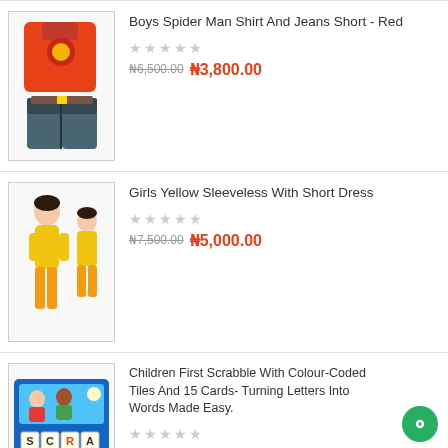[Figure (photo): Red Spider-Man hoodie shirt and blue jeans shorts product image]
Boys Spider Man Shirt And Jeans Short - Red
₦6,500.00  ₦3,800.00
[Figure (photo): Girls yellow sleeveless top and short dress product image]
Girls Yellow Sleeveless With Short Dress
₦7,500.00  ₦5,000.00
[Figure (photo): Children First Scrabble game box with colour-coded tiles]
Children First Scrabble With Colour-Coded Tiles And 15 Cards- Turning Letters Into Words Made Easy.
₦6,000.00  ₦4,000.00
Children Cartoon Intelligent Learning Machine